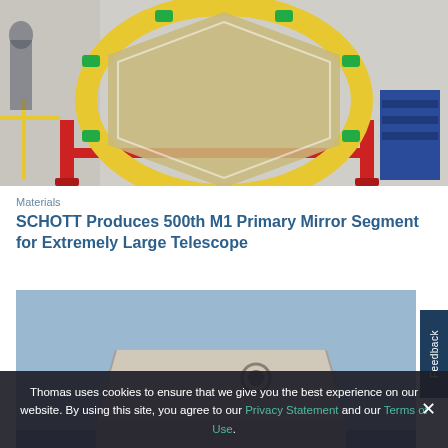[Figure (photo): Large circular telescope mirror segment mounted in a red metal frame with yellow ring, in an industrial workshop setting]
Materials
SCHOTT Produces 500th M1 Primary Mirror Segment for Extremely Large Telescope
[Figure (photo): Industrial stainless steel equipment/machine with an open lid, mounted on a wheeled cart, against a blue background]
Thomas uses cookies to ensure that we give you the best experience on our website. By using this site, you agree to our Privacy Statement and our Terms of Use.